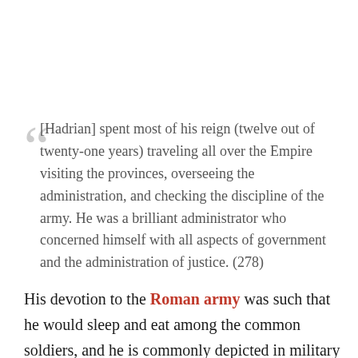[Hadrian] spent most of his reign (twelve out of twenty-one years) traveling all over the Empire visiting the provinces, overseeing the administration, and checking the discipline of the army. He was a brilliant administrator who concerned himself with all aspects of government and the administration of justice. (278)
His devotion to the Roman army was such that he would sleep and eat among the common soldiers, and he is commonly depicted in military attire